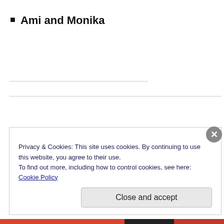Ami and Monika
Privacy & Cookies: This site uses cookies. By continuing to use this website, you agree to their use.
To find out more, including how to control cookies, see here: Cookie Policy
Close and accept